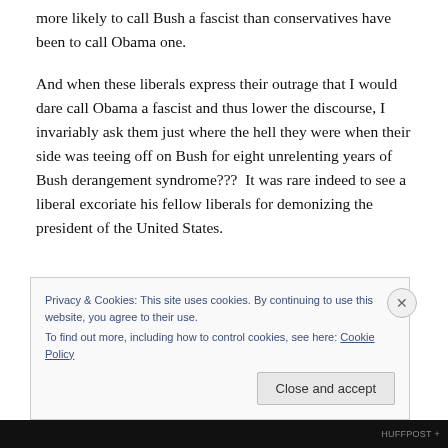more likely to call Bush a fascist than conservatives have been to call Obama one.
And when these liberals express their outrage that I would dare call Obama a fascist and thus lower the discourse, I invariably ask them just where the hell they were when their side was teeing off on Bush for eight unrelenting years of Bush derangement syndrome???  It was rare indeed to see a liberal excoriate his fellow liberals for demonizing the president of the United States.
Privacy & Cookies: This site uses cookies. By continuing to use this website, you agree to their use. To find out more, including how to control cookies, see here: Cookie Policy
HUFFPOST +